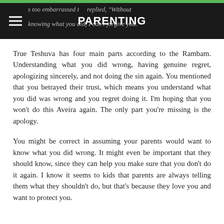PARENTING
s too embarrassed t... replied, "Without knowing what you did, I can't forgive you."
True Teshuva has four main parts according to the Rambam. Understanding what you did wrong, having genuine regret, apologizing sincerely, and not doing the sin again. You mentioned that you betrayed their trust, which means you understand what you did was wrong and you regret doing it. I'm hoping that you won't do this Aveira again. The only part you're missing is the apology.
You might be correct in assuming your parents would want to know what you did wrong. It might even be important that they should know, since they can help you make sure that you don't do it again. I know it seems to kids that parents are always telling them what they shouldn't do, but that's because they love you and want to protect you.